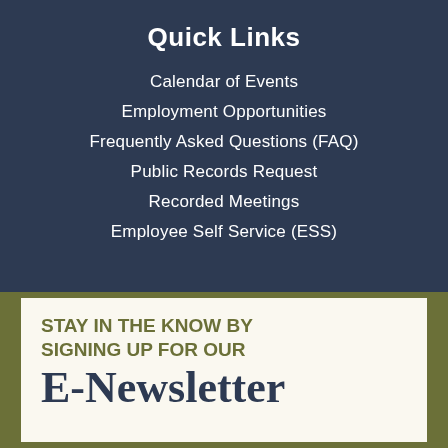Quick Links
Calendar of Events
Employment Opportunities
Frequently Asked Questions (FAQ)
Public Records Request
Recorded Meetings
Employee Self Service (ESS)
STAY IN THE KNOW BY SIGNING UP FOR OUR
E-Newsletter